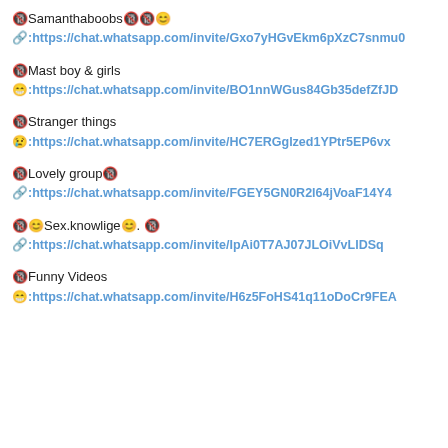🔞Samanthaboobs🔞🔞😊
🔗:https://chat.whatsapp.com/invite/Gxo7yHGvEkm6pXzC7snmu0
🔞Mast boy & girls
😁:https://chat.whatsapp.com/invite/BO1nnWGus84Gb35defZfJD
🔞Stranger things
😢:https://chat.whatsapp.com/invite/HC7ERGglzed1YPtr5EP6vx
🔞Lovely group🔞
🔗:https://chat.whatsapp.com/invite/FGEY5GN0R2l64jVoaF14Y4
🔞😊Sex.knowlige😊. 🔞
🔗:https://chat.whatsapp.com/invite/IpAi0T7AJ07JLOiVvLlDSq
🔞Funny Videos
😁:https://chat.whatsapp.com/invite/H6z5FoHS41q11oDoCr9FEA